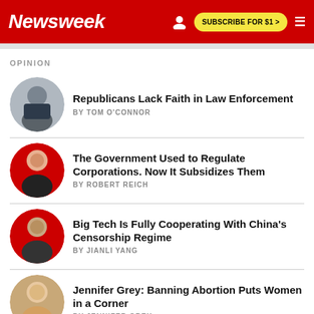Newsweek | SUBSCRIBE FOR $1 >
OPINION
Republicans Lack Faith in Law Enforcement
BY TOM O'CONNOR
The Government Used to Regulate Corporations. Now It Subsidizes Them
BY ROBERT REICH
Big Tech Is Fully Cooperating With China's Censorship Regime
BY JIANLI YANG
Jennifer Grey: Banning Abortion Puts Women in a Corner
BY JENNIFER GREY